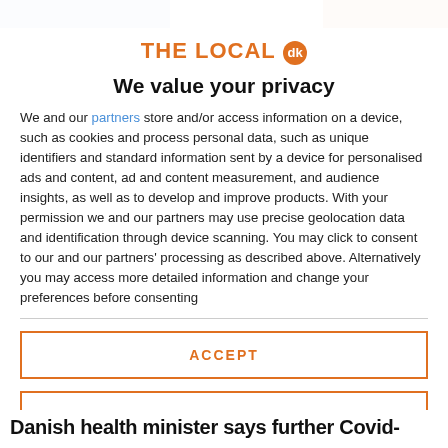THE LOCAL dk
We value your privacy
We and our partners store and/or access information on a device, such as cookies and process personal data, such as unique identifiers and standard information sent by a device for personalised ads and content, ad and content measurement, and audience insights, as well as to develop and improve products. With your permission we and our partners may use precise geolocation data and identification through device scanning. You may click to consent to our and our partners' processing as described above. Alternatively you may access more detailed information and change your preferences before consenting
ACCEPT
MORE OPTIONS
Danish health minister says further Covid-